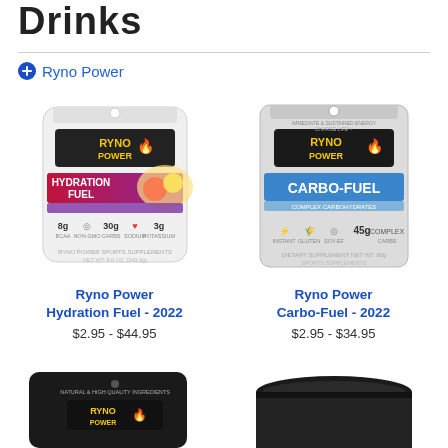Drinks
Ryno Power
[Figure (photo): Ryno Power Hydration Fuel 2022 product bag - white pouch with red/purple label showing fruits]
Ryno Power
Hydration Fuel - 2022
$2.95 - $44.95
[Figure (photo): Ryno Power Carbo-Fuel 2022 product bag - grey/silver pouch with blue label]
Ryno Power
Carbo-Fuel - 2022
$2.95 - $34.95
[Figure (photo): Black product pouch - partially visible at bottom left]
[Figure (photo): Black container lid - partially visible at bottom right]